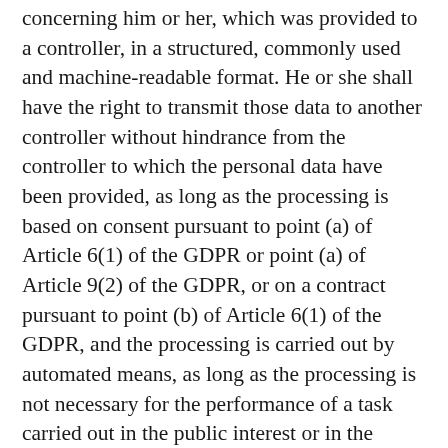concerning him or her, which was provided to a controller, in a structured, commonly used and machine-readable format. He or she shall have the right to transmit those data to another controller without hindrance from the controller to which the personal data have been provided, as long as the processing is based on consent pursuant to point (a) of Article 6(1) of the GDPR or point (a) of Article 9(2) of the GDPR, or on a contract pursuant to point (b) of Article 6(1) of the GDPR, and the processing is carried out by automated means, as long as the processing is not necessary for the performance of a task carried out in the public interest or in the exercise of official authority vested in the controller. Furthermore, in exercising his or her right to data portability pursuant to Article 20(1) of the GDPR, the data subject shall have the right to have personal data transmitted directly from one controller to another, where technically feasible and when doing so does not adversely affect the rights and freedoms of others.